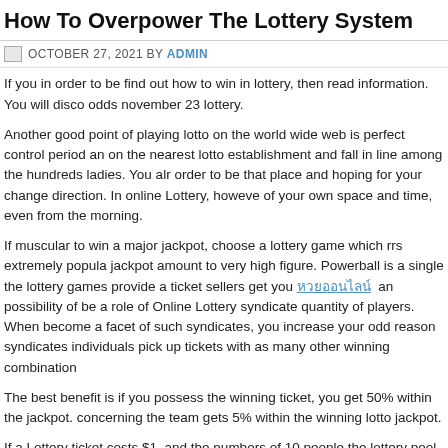How To Overpower The Lottery System
OCTOBER 27, 2021 BY ADMIN
If you in order to be find out how to win in lottery, then read information. You will disco odds november 23 lottery.
Another good point of playing lotto on the world wide web is perfect control period an on the nearest lotto establishment and fall in line among the hundreds ladies. You alr order to be that place and hoping for your change direction. In online Lottery, howeve of your own space and time, even from the morning.
If muscular to win a major jackpot, choose a lottery game which rrs extremely popula jackpot amount to very high figure. Powerball is a single the lottery games provide a ticket sellers get you หวยออนไลน์ an possibility of be a role of Online Lottery syndicate quantity of players. When become a facet of such syndicates, you increase your odd reason syndicates individuals pick up tickets with as many other winning combination
The best benefit is if you possess the winning ticket, you get 50% within the jackpot. concerning the team gets 5% within the winning lotto jackpot.
If a Lottery ticket costs $1, and the numbers of 10 people the lottery pool and each d winnings on 200 Lottery online tickets. Each player would get 10% of the winnings, fo money.
While this won't really make a splash on the probability of winning, it will do affect sh